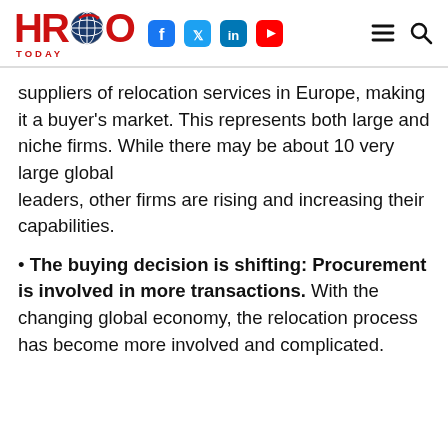HRO Today
suppliers of relocation services in Europe, making it a buyer's market. This represents both large and niche firms. While there may be about 10 very large global leaders, other firms are rising and increasing their capabilities.
• The buying decision is shifting: Procurement is involved in more transactions. With the changing global economy, the relocation process has become more involved and complicated.